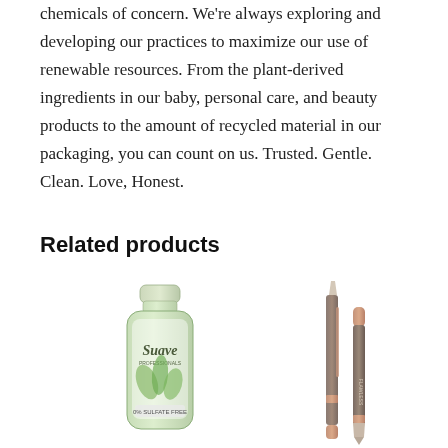chemicals of concern. We're always exploring and developing our practices to maximize our use of renewable resources. From the plant-derived ingredients in our baby, personal care, and beauty products to the amount of recycled material in our packaging, you can count on us. Trusted. Gentle. Clean. Love, Honest.
Related products
[Figure (photo): Suave Professionals shampoo bottle in light green color with plant/herb imagery and 0% sulfate label]
[Figure (photo): Two cosmetic eyebrow/eyeliner pencils in rose gold and taupe/grey colors]